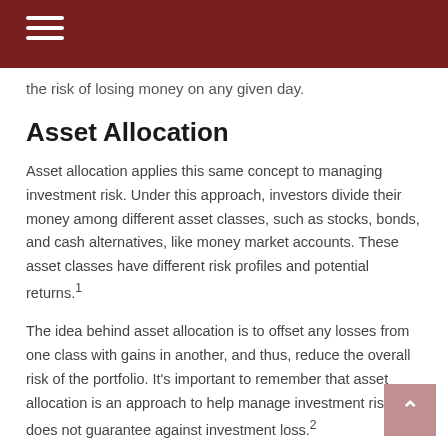the risk of losing money on any given day.
Asset Allocation
Asset allocation applies this same concept to managing investment risk. Under this approach, investors divide their money among different asset classes, such as stocks, bonds, and cash alternatives, like money market accounts. These asset classes have different risk profiles and potential returns.1
The idea behind asset allocation is to offset any losses from one class with gains in another, and thus, reduce the overall risk of the portfolio. It's important to remember that asset allocation is an approach to help manage investment risk. It does not guarantee against investment loss.2